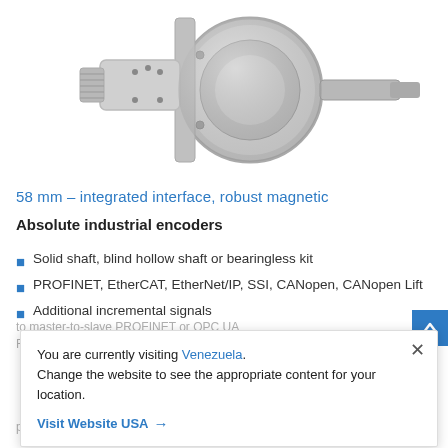[Figure (photo): Photograph of an absolute industrial encoder — a cylindrical metallic rotary encoder with a threaded M12 connector on the left, mounting flange, and a protruding shaft on the right.]
58 mm – integrated interface, robust magnetic
Absolute industrial encoders
Solid shaft, blind hollow shaft or bearingless kit
PROFINET, EtherCAT, EtherNet/IP, SSI, CANopen, CANopen Lift
Additional incremental signals
You are currently visiting Venezuela. Change the website to see the appropriate content for your location.
Visit Website USA →